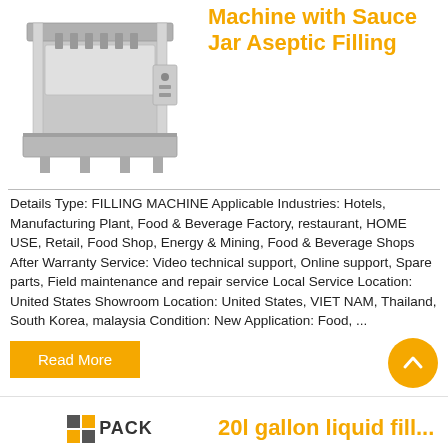[Figure (photo): Industrial filling machine, stainless steel, front-facing view]
Machine with Sauce Jar Aseptic Filling
Details Type: FILLING MACHINE Applicable Industries: Hotels, Manufacturing Plant, Food & Beverage Factory, restaurant, HOME USE, Retail, Food Shop, Energy & Mining, Food & Beverage Shops After Warranty Service: Video technical support, Online support, Spare parts, Field maintenance and repair service Local Service Location: United States Showroom Location: United States, VIET NAM, Thailand, South Korea, malaysia Condition: New Application: Food, ...
Read More
[Figure (logo): NNPack logo with grid icon and text]
20l gallon liquid fill...